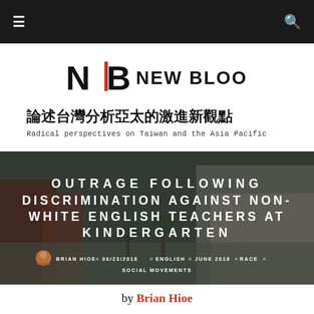≡  [navigation bar]  🔍
[Figure (logo): New Bloom magazine logo: stylized NB lettermark in black with a red vertical bar, followed by NEW BLOOM in bold sans-serif capitals]
論述台灣分析亞太的激進新觀點
Radical perspectives on Taiwan and the Asia Pacific
[Figure (photo): Hero image of a school/kindergarten campus with buildings, courtyard, and trees, overlaid with large white bold uppercase text reading OUTRAGE FOLLOWING DISCRIMINATION AGAINST NON-WHITE ENGLISH TEACHERS AT KINDERGARTEN, with author/metadata: BRIAN HIOE x 06/23/2018 x ENGLISH x JUNE 2018 x RACE x SOCIAL MOVEMENTS]
by Brian Hioe